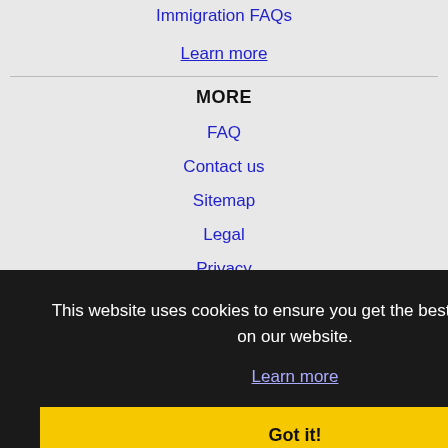Immigration FAQs
Learn more
MORE
FAQ
Contact us
Sitemap
Legal
Privacy
NEARBY CITIES
Springfield, IL Jobs
Bloomington, IL Jobs
Chesterfield, MO Jobs
Decatur, IL Jobs
Florissant, MO Jobs
This website uses cookies to ensure you get the best experience on our website.
Learn more
Got it!